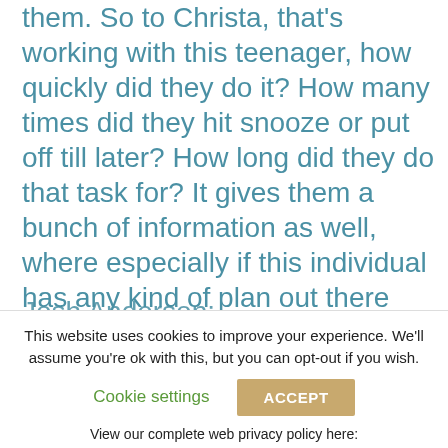them. So to Christa, that's working with this teenager, how quickly did they do it? How many times did they hit snooze or put off till later? How long did they do that task for? It gives them a bunch of information as well, where especially if this individual has any kind of plan out there with measurable goals that they do have to meet, they can get all that information basically in a dashboard to how the person actually does it.
Josh Anderson:
This website uses cookies to improve your experience. We'll assume you're ok with this, but you can opt-out if you wish.
Cookie settings
ACCEPT
View our complete web privacy policy here:
https://www.eastersealstech.com/privacy-practices/